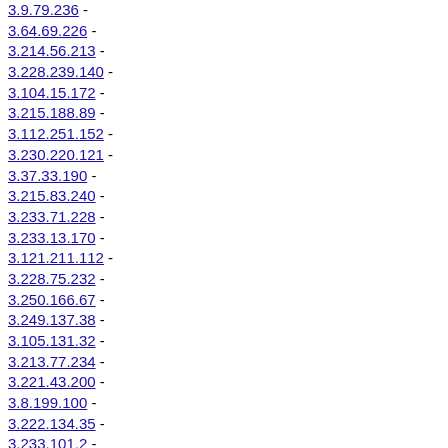3.9.79.236 -
3.64.69.226 -
3.214.56.213 -
3.228.239.140 -
3.104.15.172 -
3.215.188.89 -
3.112.251.152 -
3.230.220.121 -
3.37.33.190 -
3.215.83.240 -
3.233.71.228 -
3.233.13.170 -
3.121.211.112 -
3.228.75.232 -
3.250.166.67 -
3.249.137.38 -
3.105.131.32 -
3.213.77.234 -
3.221.43.200 -
3.8.199.100 -
3.222.134.35 -
3.233.101.2 -
3.235.213.114 -
3.213.153.54 -
3.250.229.130 -
3.248.211.112 -
3.98.239.140 -
3.137.222.123 -
3.239.22.179 -
3.130.243.144